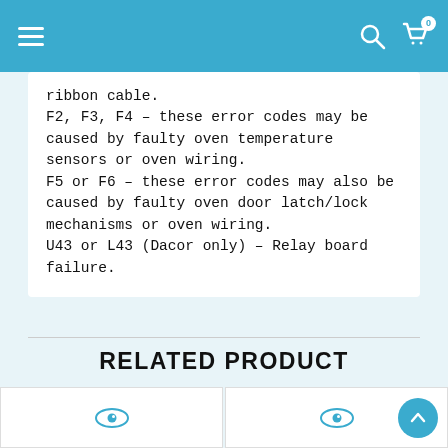Navigation header with hamburger menu, search icon, and cart icon (0 items)
ribbon cable.
F2, F3, F4 - these error codes may be caused by faulty oven temperature sensors or oven wiring.
F5 or F6 - these error codes may also be caused by faulty oven door latch/lock mechanisms or oven wiring.
U43 or L43 (Dacor only) - Relay board failure.
RELATED PRODUCT
[Figure (other): Two product card thumbnails with eye/view icons in teal color]
[Figure (other): Scroll-to-top floating action button (teal circle with up arrow)]